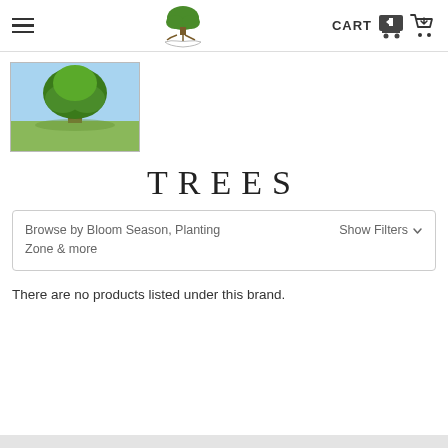Navigation header with hamburger menu, tree nursery logo, and CART icon
[Figure (photo): A large green tree in an open grassy field under a blue sky]
TREES
Browse by Bloom Season, Planting Zone & more   Show Filters ˅
There are no products listed under this brand.